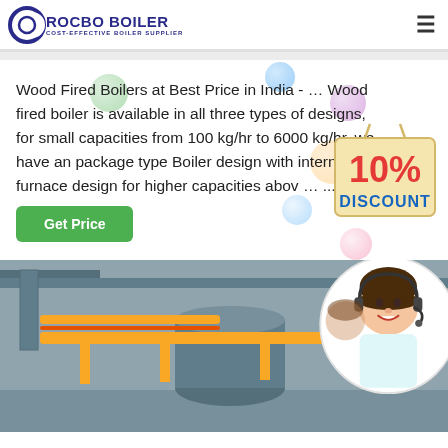[Figure (logo): ROCBO BOILER logo with tagline COST-EFFECTIVE BOILER SUPPLIER and crescent icon]
Wood Fired Boilers at Best Price in India - … Wood fired boiler is available in all three types of designs, for small capacities from 100 kg/hr to 6000 kg/hr, we have an package type Boiler design with internal furnace design for higher capacities abov … ...
[Figure (infographic): 10% DISCOUNT badge with decorative balloon bubbles]
[Figure (photo): Industrial boiler room with yellow pipes, and customer service agent with headset in circular overlay]
Get Price